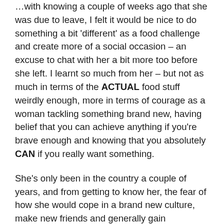…with knowing a couple of weeks ago that she was due to leave, I felt it would be nice to do something a bit 'different' as a food challenge and create more of a social occasion – an excuse to chat with her a bit more too before she left. I learnt so much from her – but not as much in terms of the ACTUAL food stuff weirdly enough, more in terms of courage as a woman tackling something brand new, having belief that you can achieve anything if you're brave enough and knowing that you absolutely CAN if you really want something.
She's only been in the country a couple of years, and from getting to know her, the fear of how she would cope in a brand new culture, make new friends and generally gain confidence in her ability to adapt to change… it made me realise that even though someone may not have been through the same experience as you, you probably still have a lot more in common that you realise. We all have challenges to face and that scary, inevitable